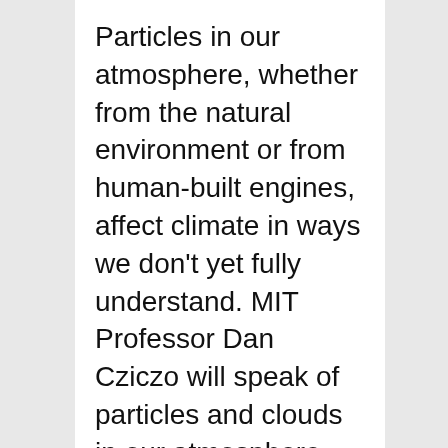Particles in our atmosphere, whether from the natural environment or from human-built engines, affect climate in ways we don't yet fully understand. MIT Professor Dan Cziczo will speak of particles and clouds in our atmosphere and how climate is influenced by them. The evening will begin outdoors at Fog x Hill, a Fujiko Nakaya fog exhibit at the Arboretum and then shift indoors for a lecture about clouds and climate. Arrive promptly at 6:30pm to view Fog x Hill, a timed release